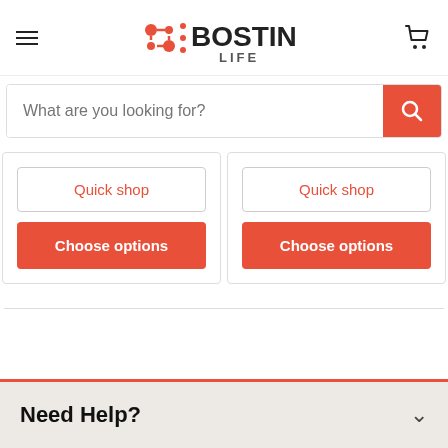BOSTIN LIFE
What are you looking for?
Quick shop
Choose options
Quick shop
Choose options
Need Help?